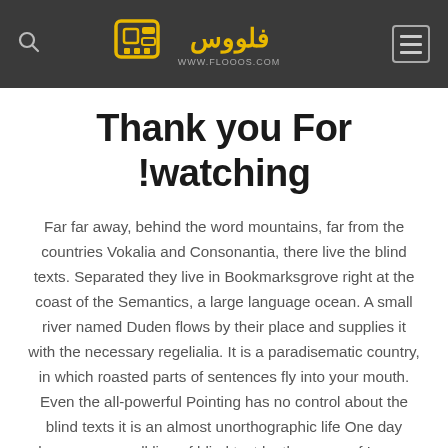flooos.com logo header with search and menu icons
Thank you For watching!
Far far away, behind the word mountains, far from the countries Vokalia and Consonantia, there live the blind texts. Separated they live in Bookmarksgrove right at the coast of the Semantics, a large language ocean. A small river named Duden flows by their place and supplies it with the necessary regelialia. It is a paradisematic country, in which roasted parts of sentences fly into your mouth. Even the all-powerful Pointing has no control about the blind texts it is an almost unorthographic life One day however a small line of blind text by the name of Lorem Ipsum decided